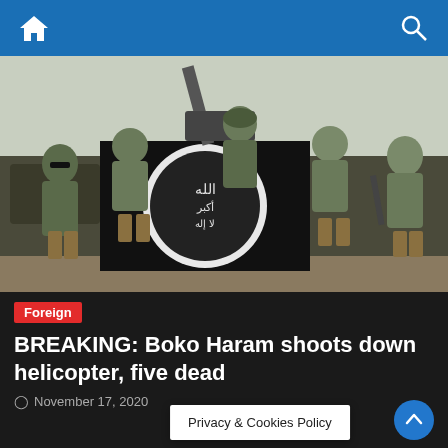Home | Search
[Figure (photo): Nigerian soldiers in camouflage uniforms sitting on a military vehicle, holding up a black Boko Haram flag with white Arabic script and seal, with a mounted gun visible above them.]
Foreign
BREAKING: Boko Haram shoots down helicopter, five dead
November 17, 2020
Privacy & Cookies Policy